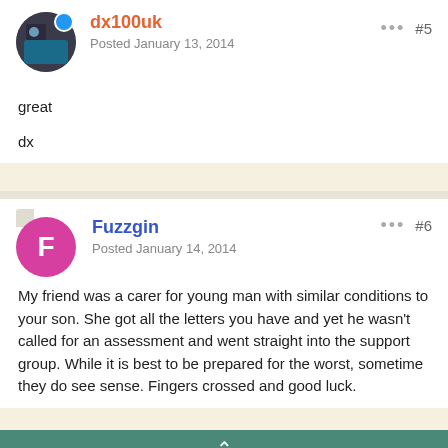dx100uk
Posted January 13, 2014
#5
great

dx
Fuzzgin
Posted January 14, 2014
#6
My friend was a carer for young man with similar conditions to your son. She got all the letters you have and yet he wasn't called for an assessment and went straight into the support group. While it is best to be prepared for the worst, sometime they do see sense. Fingers crossed and good luck.